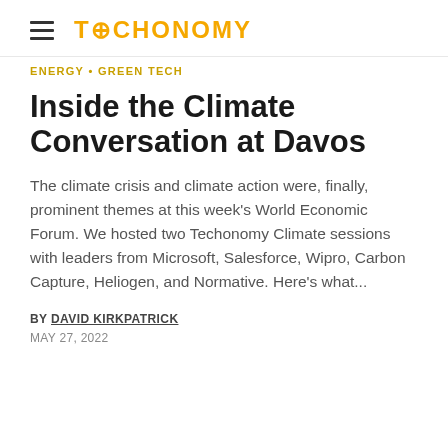TECHONOMY
ENERGY • GREEN TECH
Inside the Climate Conversation at Davos
The climate crisis and climate action were, finally, prominent themes at this week's World Economic Forum. We hosted two Techonomy Climate sessions with leaders from Microsoft, Salesforce, Wipro, Carbon Capture, Heliogen, and Normative. Here's what...
BY DAVID KIRKPATRICK
MAY 27, 2022